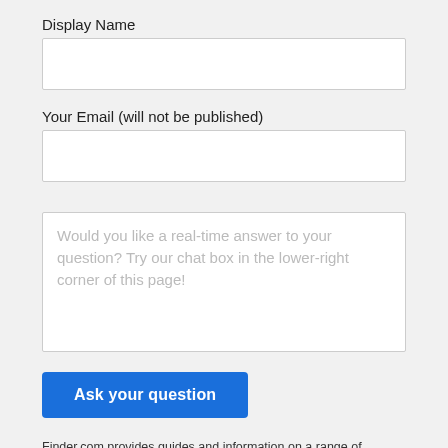Display Name
[Figure (other): Empty text input field for Display Name]
Your Email (will not be published)
[Figure (other): Empty text input field for Email]
[Figure (other): Text area with placeholder: Would you like a real-time answer to your question? Try our chat box in the lower-right corner of this page!]
[Figure (other): Blue button labeled 'Ask your question']
Finder.com provides guides and information on a range of products and services. Because our content is not financial advice we suggest talking